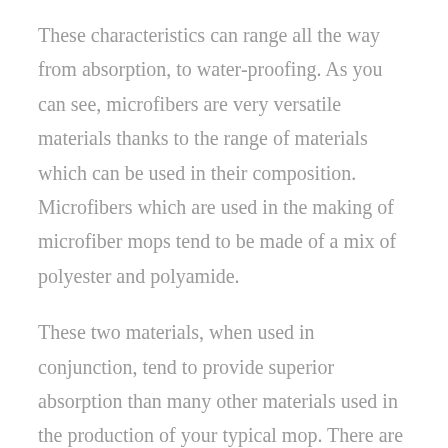These characteristics can range all the way from absorption, to water-proofing. As you can see, microfibers are very versatile materials thanks to the range of materials which can be used in their composition. Microfibers which are used in the making of microfiber mops tend to be made of a mix of polyester and polyamide.
These two materials, when used in conjunction, tend to provide superior absorption than many other materials used in the production of your typical mop. There are many other advantages to using microfibers in your mop, but we will go over those advantages later on.